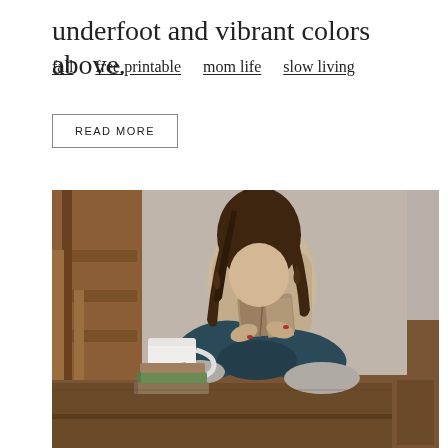underfoot and vibrant colors above.
fall   free printable   mom life   slow living
READ MORE
[Figure (photo): A woman with long curly brown hair sitting cross-legged on a wooden bench/shelf, reading a book. She is wearing a beige sweater, dark teal/navy pants, and gray socks. A white mug with 'ABIDE' text sits on a stack of books to her left. Rustic wooden stairs are visible in the background.]